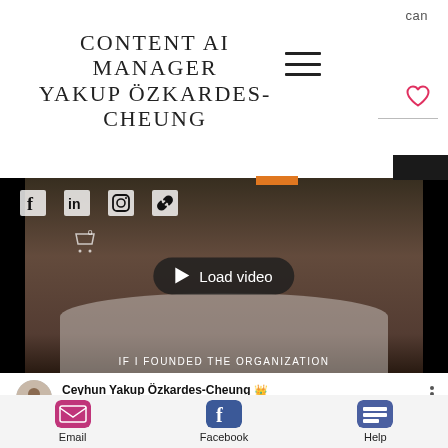can
CONTENT AI MANAGER YAKUP ÖZKARDES-CHEUNG
[Figure (screenshot): Video thumbnail with social media icons (Facebook, LinkedIn, Instagram, link) overlay, a person with beard in background, and a 'Load video' play button. Bottom caption reads: IF I FOUNDED THE ORGANIZATION]
Ceyhun Yakup Özkardes-Cheung 👑
Dec 3, 2020 · 1 min
Email | Facebook | Help